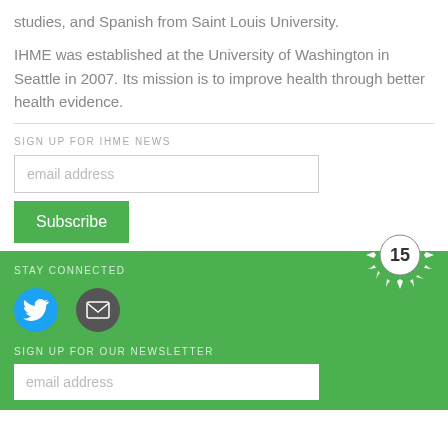studies, and Spanish from Saint Louis University.
IHME was established at the University of Washington in Seattle in 2007. Its mission is to improve health through better health evidence.
SIGN UP FOR IHME NEWS
email address
Subscribe
STAY CONNECTED
[Figure (illustration): Twitter bird icon (blue circle) and email envelope icon (dark grey circle) for social media links]
[Figure (logo): 15th anniversary badge with starburst design, number 15 in circle]
SIGN UP FOR OUR NEWSLETTER
email address